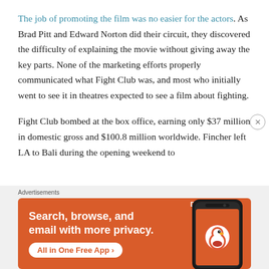The job of promoting the film was no easier for the actors. As Brad Pitt and Edward Norton did their circuit, they discovered the difficulty of explaining the movie without giving away the key parts. None of the marketing efforts properly communicated what Fight Club was, and most who initially went to see it in theatres expected to see a film about fighting.

Fight Club bombed at the box office, earning only $37 million in domestic gross and $100.8 million worldwide. Fincher left LA to Bali during the opening weekend to
[Figure (other): DuckDuckGo advertisement banner with orange background showing 'Search, browse, and email with more privacy. All in One Free App' text and a smartphone displaying the DuckDuckGo logo/app]